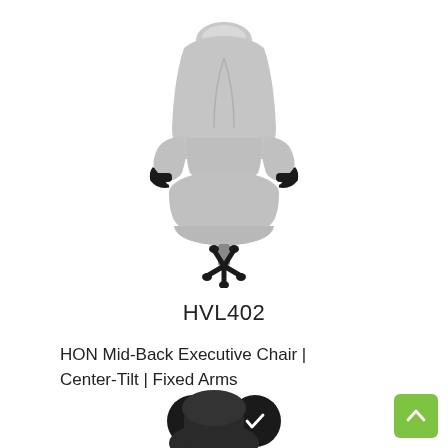[Figure (photo): Light gray HON mid-back executive office chair with black armrests and black five-star wheeled base, shown on white background]
HVL402
HON Mid-Back Executive Chair | Center-Tilt | Fixed Arms
[Figure (illustration): Two circular dark buttons: a download arrow button and a checkmark button]
[Figure (illustration): Green square back-to-top button with upward arrow in bottom right corner]
[Figure (photo): Partial view of a dark/black office chair at bottom of page]